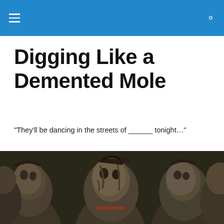Digging Like a Demented Mole
Digging Like a Demented Mole
"They'll be dancing in the streets of ______ tonight..."
[Figure (photo): Group of mud-covered rugby players looking exhausted and dirty after a match]
TAGGED WITH ONGEL-TEHRA
Ruck Marks: England vs